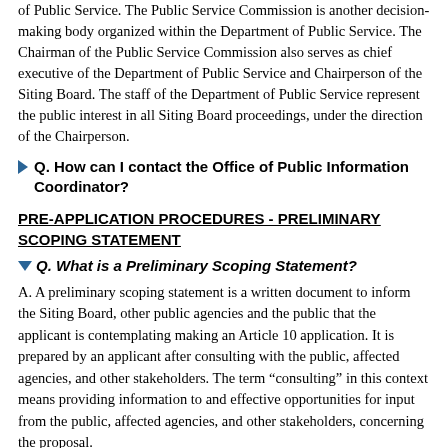of Public Service. The Public Service Commission is another decision-making body organized within the Department of Public Service. The Chairman of the Public Service Commission also serves as chief executive of the Department of Public Service and Chairperson of the Siting Board. The staff of the Department of Public Service represent the public interest in all Siting Board proceedings, under the direction of the Chairperson.
Q. How can I contact the Office of Public Information Coordinator?
PRE-APPLICATION PROCEDURES - PRELIMINARY SCOPING STATEMENT
Q. What is a Preliminary Scoping Statement?
A. A preliminary scoping statement is a written document to inform the Siting Board, other public agencies and the public that the applicant is contemplating making an Article 10 application. It is prepared by an applicant after consulting with the public, affected agencies, and other stakeholders. The term "consulting" in this context means providing information to and effective opportunities for input from the public, affected agencies, and other stakeholders, concerning the proposal.